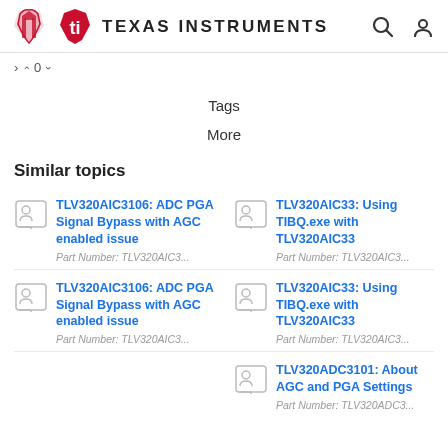[Figure (screenshot): Texas Instruments website header with logo, search icon, and user icon]
^ 0 v
Tags
More
Similar topics
TLV320AIC3106: ADC PGA Signal Bypass with AGC enabled issue
Part Number: TLV320AIC3...
TLV320AIC33: Using TIBQ.exe with TLV320AIC33
Part Number: TLV320AIC3...
TLV320AIC3106: ADC PGA Signal Bypass with AGC enabled issue
Part Number: TLV320AIC3...
TLV320AIC33: Using TIBQ.exe with TLV320AIC33
Part Number: TLV320AIC3...
TLV320ADC3101: About AGC and PGA Settings
Part Number: TLV320ADC3...